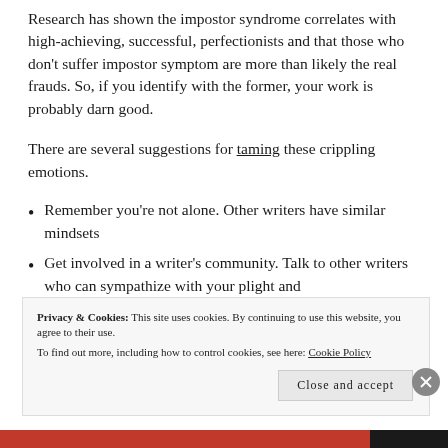Research has shown the impostor syndrome correlates with high-achieving, successful, perfectionists and that those who don't suffer impostor symptom are more than likely the real frauds. So, if you identify with the former, your work is probably darn good.
There are several suggestions for taming these crippling emotions.
Remember you're not alone. Other writers have similar mindsets
Get involved in a writer's community. Talk to other writers who can sympathize with your plight and
Privacy & Cookies: This site uses cookies. By continuing to use this website, you agree to their use. To find out more, including how to control cookies, see here: Cookie Policy
Close and accept